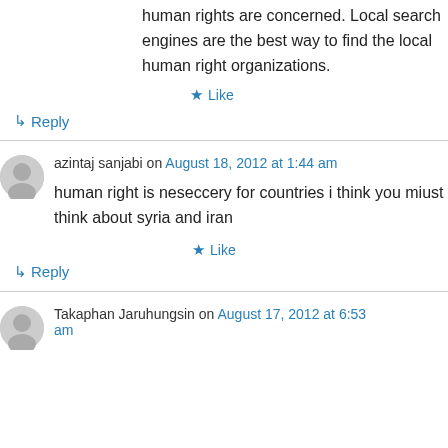human rights are concerned. Local search engines are the best way to find the local human right organizations.
Like
↳ Reply
azintaj sanjabi on August 18, 2012 at 1:44 am
human right is neseccery for countries i think you miust think about syria and iran
Like
↳ Reply
Takaphan Jaruhungsin on August 17, 2012 at 6:53 am